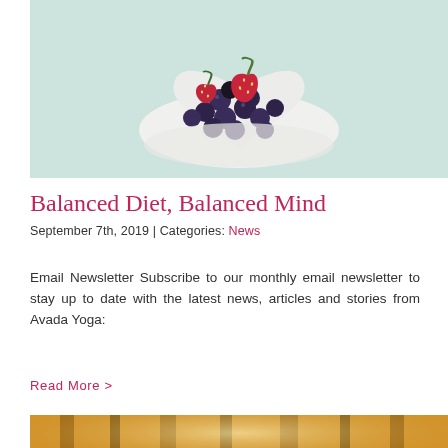[Figure (photo): Heart-shaped white bowl filled with mixed berries (strawberries, blueberries, blackberries) on a light mint-green background, viewed from above.]
Balanced Diet, Balanced Mind
September 7th, 2019 | Categories: News
Email Newsletter Subscribe to our monthly email newsletter to stay up to date with the latest news, articles and stories from Avada Yoga:
Read More >
[Figure (photo): Partial view of a sun-lit forest with golden light filtering through tall trees, warm orange-yellow tones.]